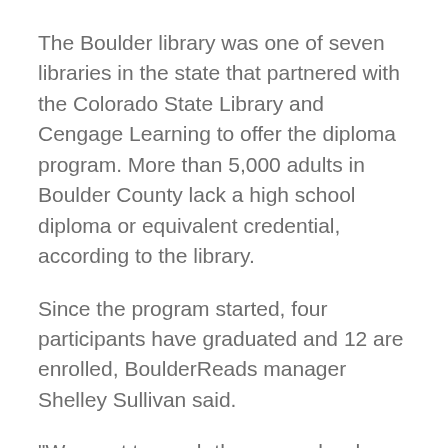The Boulder library was one of seven libraries in the state that partnered with the Colorado State Library and Cengage Learning to offer the diploma program. More than 5,000 adults in Boulder County lack a high school diploma or equivalent credential, according to the library.
Since the program started, four participants have graduated and 12 are enrolled, BoulderReads manager Shelley Sullivan said.
“We want to reach those people who really want their high school diploma,” she said. “It opens up a whole new realm of career possibilities for people.”
The original partnership provided money to offer